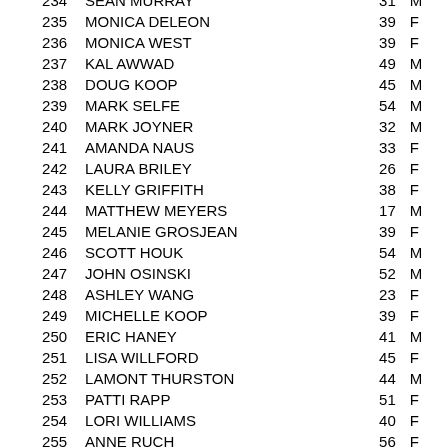| # | Name | Age | Sex |
| --- | --- | --- | --- |
| 234 | SEAN MURRAY | 31 | M |
| 235 | MONICA DELEON | 39 | F |
| 236 | MONICA WEST | 39 | F |
| 237 | KAL AWWAD | 49 | M |
| 238 | DOUG KOOP | 45 | M |
| 239 | MARK SELFE | 54 | M |
| 240 | MARK JOYNER | 32 | M |
| 241 | AMANDA NAUS | 33 | F |
| 242 | LAURA BRILEY | 26 | F |
| 243 | KELLY GRIFFITH | 38 | F |
| 244 | MATTHEW MEYERS | 17 | M |
| 245 | MELANIE GROSJEAN | 39 | F |
| 246 | SCOTT HOUK | 54 | M |
| 247 | JOHN OSINSKI | 52 | M |
| 248 | ASHLEY WANG | 23 | F |
| 249 | MICHELLE KOOP | 39 | F |
| 250 | ERIC HANEY | 41 | M |
| 251 | LISA WILLFORD | 45 | F |
| 252 | LAMONT THURSTON | 44 | M |
| 253 | PATTI RAPP | 51 | F |
| 254 | LORI WILLIAMS | 40 | F |
| 255 | ANNE RUCH | 56 | F |
| 256 | CHARLES BOLLINGER | 61 | M |